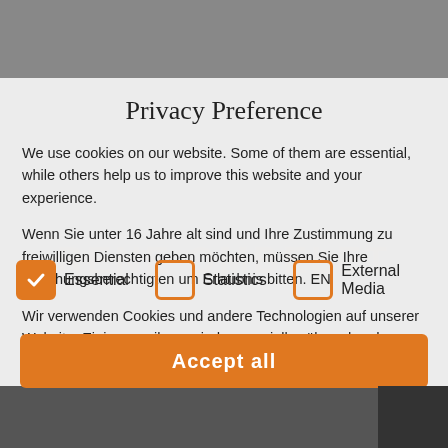[Figure (screenshot): Background photo of a person, partially obscured by a privacy preference modal overlay. Bottom shows a photo strip.]
Privacy Preference
We use cookies on our website. Some of them are essential, while others help us to improve this website and your experience.
Wenn Sie unter 16 Jahre alt sind und Ihre Zustimmung zu freiwilligen Diensten geben möchten, müssen Sie Ihre Erziehungsberechtigten um Erlaubnis bitten. EN
Wir verwenden Cookies und andere Technologien auf unserer Website. Einige von ihnen sind essenziell, während andere uns helfen, diese Website und Ihre Erfahrung zu verbessern. Personenbezogene Daten können verarbeitet werden (z. B. IP-Adressen), z. B. für personalisierte Anzeigen und Inhalte oder
Essential
Statistics
External Media